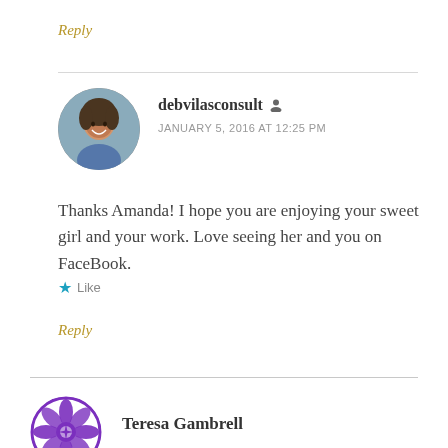Reply
debvilasconsult
JANUARY 5, 2016 AT 12:25 PM
Thanks Amanda! I hope you are enjoying your sweet girl and your work. Love seeing her and you on FaceBook.
Like
Reply
Teresa Gambrell